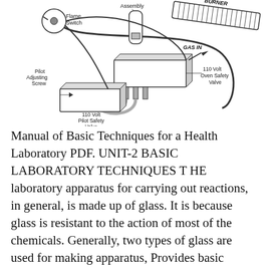[Figure (engineering-diagram): Technical diagram of a gas burner assembly showing components including: Assembly (top center), GAS IN inlet, Flame Switch (top left), Pilot Adjusting Screw (left), 110 Volt Oven Safety Valve (right), 110 Volt Pilot Safety Valve (bottom center), with wiring and tubing connections.]
Manual of Basic Techniques for a Health Laboratory PDF. UNIT-2 BASIC LABORATORY TECHNIQUES T HE laboratory apparatus for carrying out reactions, in general, is made up of glass. It is because glass is resistant to the action of most of the chemicals. Generally, two types of glass are used for making apparatus, Provides basic theory and useful laboratory experience in microwave techniques and measurements